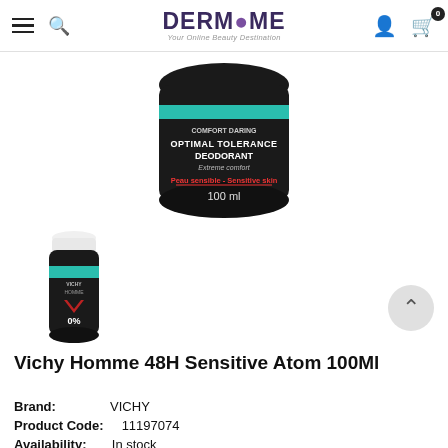DERMAME Your Online Beauty Destination
[Figure (photo): Close-up of Vichy Homme Optimal Tolerance Deodorant 100ml black canister showing product label with text: OPTIMAL TOLERANCE DEODORANT, Extreme comfort, Peau sensible - Sensitive skin, 100 ml]
[Figure (photo): Thumbnail of Vichy Homme 48H Sensitive Atom 100ml spray bottle with teal band and black body]
Vichy Homme 48H Sensitive Atom 100Ml
Brand: VICHY
Product Code: 11197074
Availability: In stock